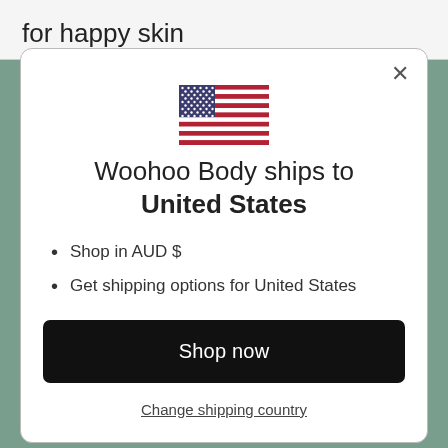for happy skin
[Figure (illustration): US flag emoji/icon centered in modal]
Woohoo Body ships to United States
Shop in AUD $
Get shipping options for United States
Shop now
Change shipping country